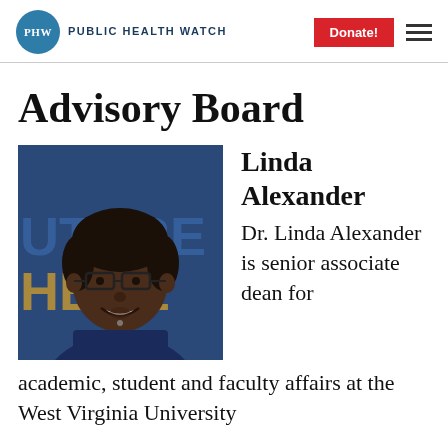PUBLIC HEALTH WATCH
Advisory Board
[Figure (photo): Headshot photo of Linda Alexander, a woman wearing glasses and a navy top, smiling, with a blue and yellow background showing partial text 'UTURE IS HERE']
Linda Alexander
Dr. Linda Alexander is senior associate dean for academic, student and faculty affairs at the West Virginia University